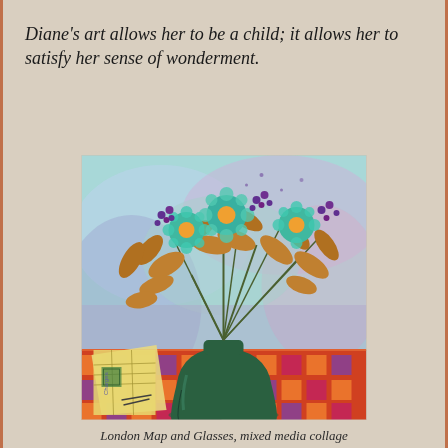Diane's art allows her to be a child; it allows her to satisfy her sense of wonderment.
[Figure (illustration): Mixed media collage painting showing a green vase filled with flowers — teal/turquoise daisy-like blossoms with golden-brown leaves — on a colorful plaid tablecloth in orange, red, purple and yellow. A map labeled 'Charges' and some glasses are visible to the lower left. The background is a wash of turquoise, lavender, pink, and blue-green.]
London Map and Glasses, mixed media collage